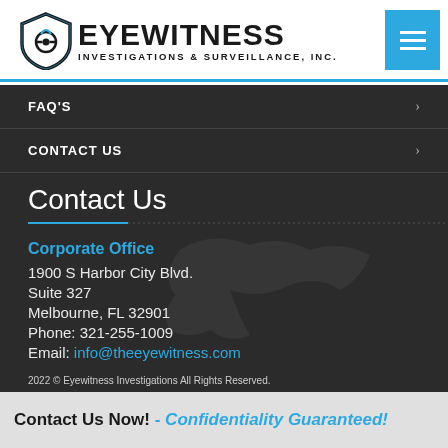[Figure (logo): Eyewitness Investigations & Surveillance, Inc. logo with shield icon and menu button]
FAQ'S
CONTACT US
Contact Us
Corporate Office
1900 S Harbor City Blvd.
Suite 327
Melbourne, FL 32901
Phone: 321-255-1009
Email: info@theeyewitness.com
2022 © Eyewitness Investigations All Rights Reserved.
Contact Us Now! - Confidentiality Guaranteed!